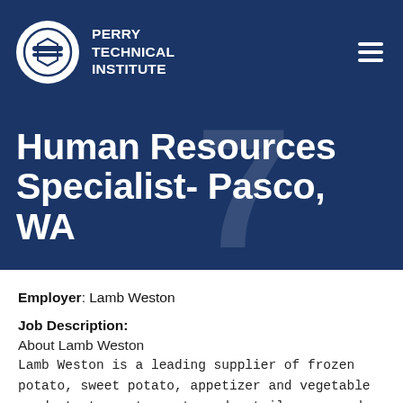PERRY TECHNICAL INSTITUTE
Human Resources Specialist- Pasco, WA
Employer: Lamb Weston
Job Description:
About Lamb Weston
Lamb Weston is a leading supplier of frozen potato, sweet potato, appetizer and vegetable products to restaurants and retailers around the world. For more than 60 years, we've